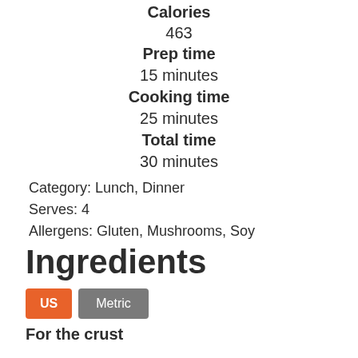Calories
463
Prep time
15 minutes
Cooking time
25 minutes
Total time
30 minutes
Category: Lunch, Dinner
Serves: 4
Allergens: Gluten, Mushrooms, Soy
Ingredients
US  Metric
For the crust